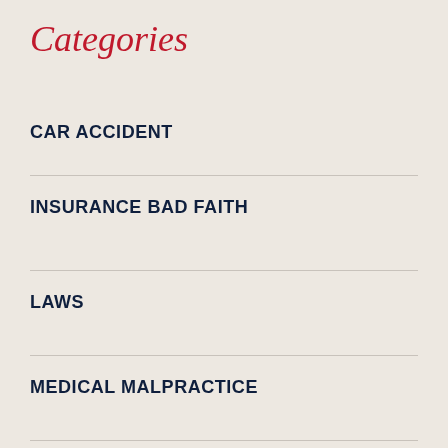Categories
CAR ACCIDENT
INSURANCE BAD FAITH
LAWS
MEDICAL MALPRACTICE